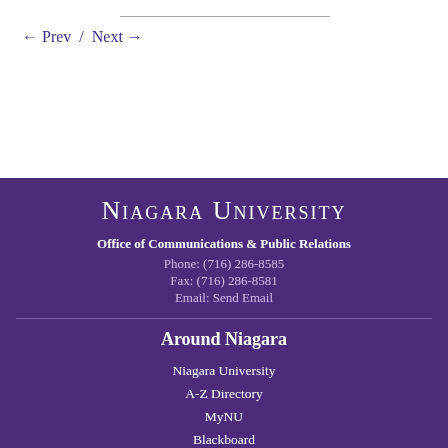← Prev  /  Next →
[Figure (logo): Niagara University logo in small-caps serif white text]
Office of Communications & Public Relations
Phone: (716) 286-8585
Fax: (716) 286-8581
Email: Send Email
Around Niagara
Niagara University
A-Z Directory
MyNU
Blackboard